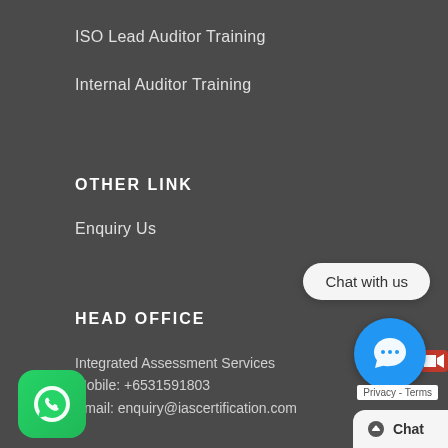ISO Lead Auditor Training
Internal Auditor Training
OTHER LINK
Enquiry Us
HEAD OFFICE
Integrated Assessment Services
Mobile: +6531591803
Email: enquiry@iascertification.com
[Figure (illustration): WhatsApp icon button (green rounded square with white phone handset)]
[Figure (illustration): Chat with us speech bubble overlay]
[Figure (illustration): Blue circular chat button with speech bubble icon and red video camera icon, Privacy Terms label, and Chat bar at bottom]